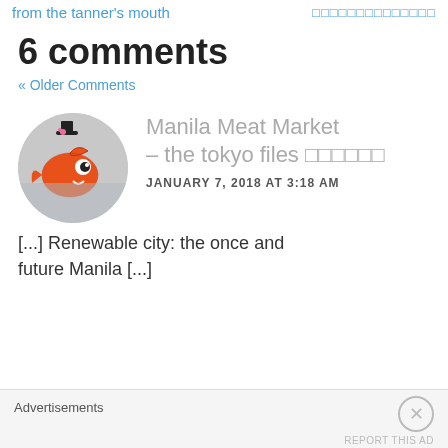from the tanner's mouth | □□□□□□□□□□□□□□
6 comments
« Older Comments
[Figure (photo): Circular avatar image of a cartoon fish character wearing a top hat]
Manila Meat Market – the tokyo files □□□□□□
JANUARY 7, 2018 AT 3:18 AM
[...] Renewable city: the once and future Manila [...]
Advertisements